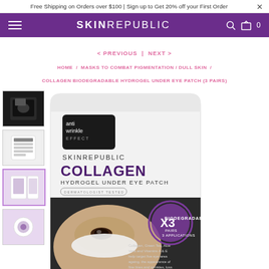Free Shipping on Orders over $100 | Sign up to Get 20% off your First Order
SKINREPUBLIC
< PREVIOUS | NEXT >
HOME / MASKS TO COMBAT PIGMENTATION / DULL SKIN / COLLAGEN BIODEGRADABLE HYDROGEL UNDER EYE PATCH (3 PAIRS)
[Figure (photo): Product thumbnails of Skin Republic Collagen Hydrogel Under Eye Patch showing front packaging, back of packaging, product lifestyle images]
[Figure (photo): Main product image: Skin Republic Collagen Biodegradable Hydrogel Under Eye Patch packaging showing anti wrinkle effect label, product name, woman wearing eye patches, ingredients text, X3 pairs badge]